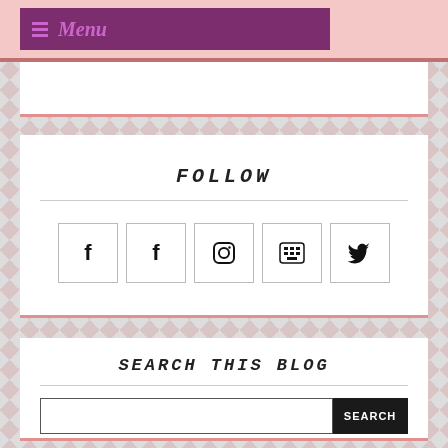Menu
FOLLOW
[Figure (other): Social media icons: Facebook, Facebook, Instagram, YouTube, Twitter]
SEARCH THIS BLOG
SEARCH (button)